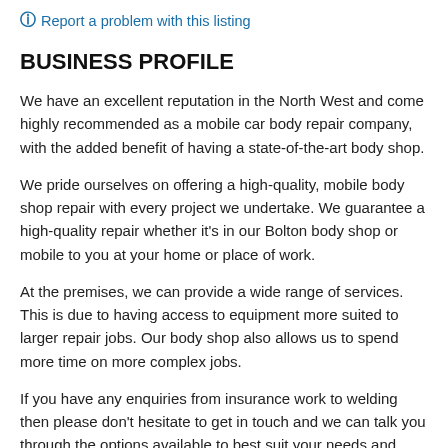Report a problem with this listing
BUSINESS PROFILE
We have an excellent reputation in the North West and come highly recommended as a mobile car body repair company, with the added benefit of having a state-of-the-art body shop.
We pride ourselves on offering a high-quality, mobile body shop repair with every project we undertake. We guarantee a high-quality repair whether it's in our Bolton body shop or mobile to you at your home or place of work.
At the premises, we can provide a wide range of services. This is due to having access to equipment more suited to larger repair jobs. Our body shop also allows us to spend more time on more complex jobs.
If you have any enquiries from insurance work to welding then please don't hesitate to get in touch and we can talk you through the options available to best suit your needs and budget.